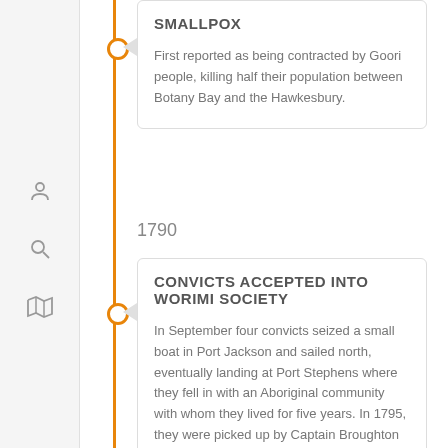SMALLPOX
First reported as being contracted by Goori people, killing half their population between Botany Bay and the Hawkesbury.
1790
CONVICTS ACCEPTED INTO WORIMI SOCIETY
In September four convicts seized a small boat in Port Jackson and sailed north, eventually landing at Port Stephens where they fell in with an Aboriginal community with whom they lived for five years. In 1795, they were picked up by Captain Broughton in